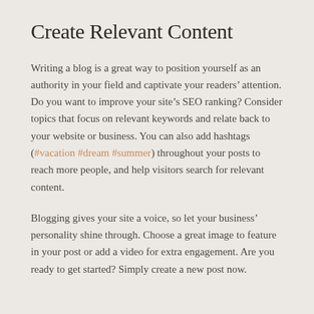Create Relevant Content
Writing a blog is a great way to position yourself as an authority in your field and captivate your readers’ attention. Do you want to improve your site’s SEO ranking? Consider topics that focus on relevant keywords and relate back to your website or business. You can also add hashtags (#vacation #dream #summer) throughout your posts to reach more people, and help visitors search for relevant content.
Blogging gives your site a voice, so let your business’ personality shine through. Choose a great image to feature in your post or add a video for extra engagement. Are you ready to get started? Simply create a new post now.